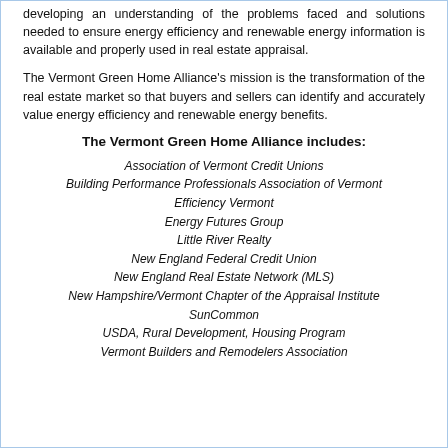developing an understanding of the problems faced and solutions needed to ensure energy efficiency and renewable energy information is available and properly used in real estate appraisal.
The Vermont Green Home Alliance's mission is the transformation of the real estate market so that buyers and sellers can identify and accurately value energy efficiency and renewable energy benefits.
The Vermont Green Home Alliance includes:
Association of Vermont Credit Unions
Building Performance Professionals Association of Vermont
Efficiency Vermont
Energy Futures Group
Little River Realty
New England Federal Credit Union
New England Real Estate Network (MLS)
New Hampshire/Vermont Chapter of the Appraisal Institute
SunCommon
USDA, Rural Development, Housing Program
Vermont Builders and Remodelers Association